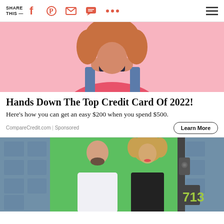SHARE THIS —
[Figure (photo): Woman in pink sweater and denim overalls holding a credit card up to her face against a pink background]
Hands Down The Top Credit Card Of 2022!
Here's how you can get an easy $200 when you spend $500.
CompareCredit.com | Sponsored
[Figure (photo): A bald man with a beard in a white shirt and a woman with curly blonde hair in a black dress standing in front of a green door with the number 713]